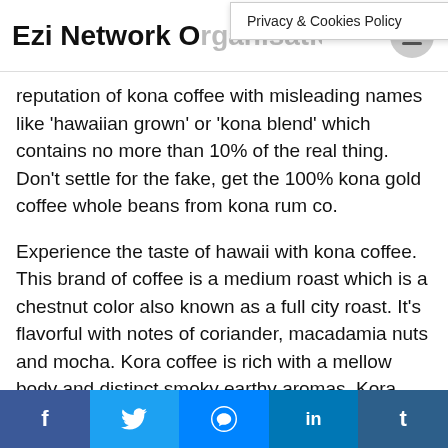Ezi Network Organisation
Privacy & Cookies Policy
reputation of kona coffee with misleading names like 'hawaiian grown' or 'kona blend' which contains no more than 10% of the real thing. Don't settle for the fake, get the 100% kona gold coffee whole beans from kona rum co.
Experience the taste of hawaii with kona coffee. This brand of coffee is a medium roast which is a chestnut color also known as a full city roast. It's flavorful with notes of coriander, macadamia nuts and mocha. Kora coffee is rich with a mellow body and distinct smoky earthy aromas. Kora comes at an affordable price but the brand doesn't compromise on quality. The product is packaged to ensure
f  t  messenger  in  t